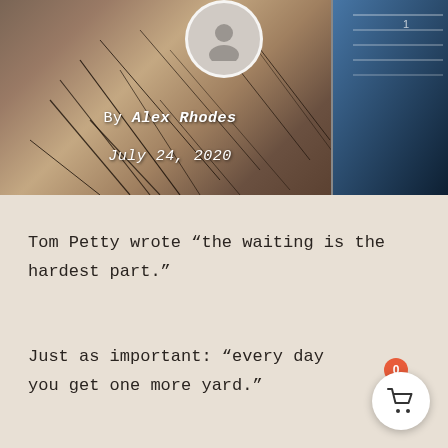[Figure (photo): Close-up photo of skin texture with dark hair strands, and a partial blue circular object (measuring tape or similar) visible on the right side. A user avatar placeholder circle is visible at the top center.]
By Alex Rhodes
July 24, 2020
Tom Petty wrote “the waiting is the hardest part.”
Just as important: “every day you get one more yard.”